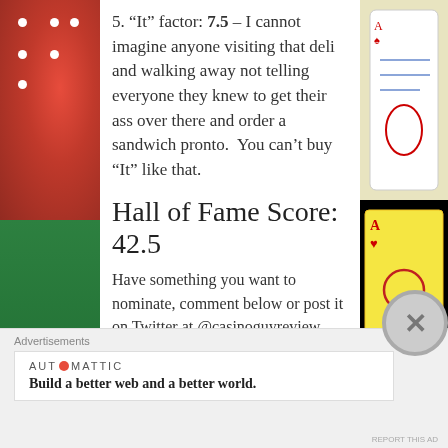5. “It” factor: 7.5 – I cannot imagine anyone visiting that deli and walking away not telling everyone they knew to get their ass over there and order a sandwich pronto. You can’t buy “It” like that.
Hall of Fame Score: 42.5
Have something you want to nominate, comment below or post it on Twitter at @casinoguyreview
Rate this: Rate This
Share this:
Advertisements
AUTOMATTIC
Build a better web and a better world.